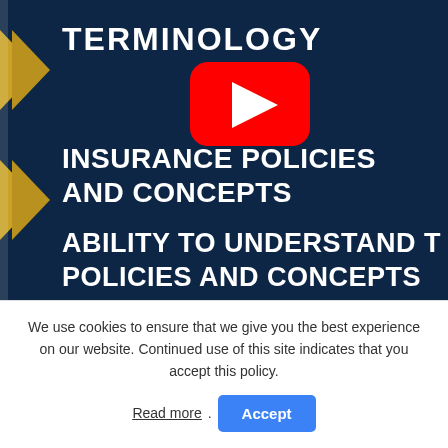[Figure (screenshot): Screenshot of a YouTube video thumbnail with dark navy blue background. Features gold chevron/ribbon decorations on the left side, white bold text reading 'TERMINOLOGY', 'INSURANCE POLICIES AND CONCEPTS', 'ABILITY TO UNDERSTAND THE POLICIES AND CONCEPTS', and a YouTube play button overlay in the center.]
We use cookies to ensure that we give you the best experience on our website. Continued use of this site indicates that you accept this policy.
Read more. Accept